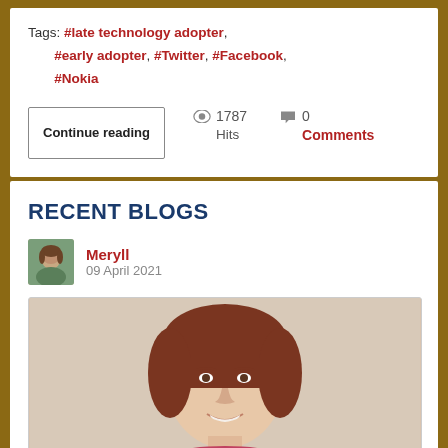Tags: #late technology adopter, #early adopter, #Twitter, #Facebook, #Nokia
Continue reading | 1787 Hits | 0 Comments
RECENT BLOGS
Meryll
09 April 2021
[Figure (photo): Portrait photo of a young woman with short brown hair, smiling, wearing a red/pink jacket, vintage style photo with beige background]